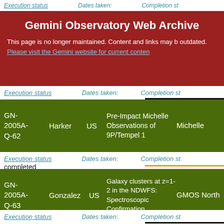Execution status   Dates taken:   Completion st...
Gemini Observatory Web Archive
This page is no longer maintained. Content and links may be outdated. Please visit the Gemini website for current content
| ID | PI | Country | Title | Instrument |
| --- | --- | --- | --- | --- |
| GN-2005A-Q-62 | Harker | US | Pre-Impact Michelle Observations of 9P/Tempel 1 | Michelle |
| GN-2005A-Q-63 | Gonzalez | US | Galaxy clusters at z=1-2 in the NDWFS: Spectroscopic Confirmation | GMOS North |
Execution status  Dates taken:  Completion st...
completed
Execution status  Dates taken:  Completion st...